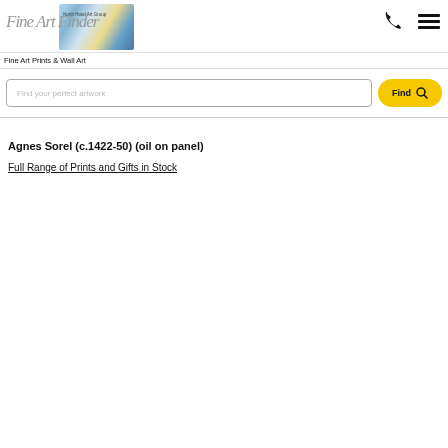[Figure (logo): Fine Art Finder logo with script text and banner image of artworks]
Fine Art Prints & Wall Art
Find your perfect artwork
Agnes Sorel (c.1422-50) (oil on panel)
Full Range of Prints and Gifts in Stock